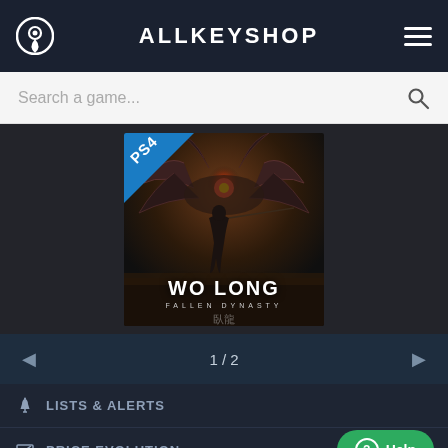ALLKEYSHOP
Search a game...
[Figure (screenshot): Wo Long: Fallen Dynasty PS4 game cover art showing a warrior facing a large creature, with a blue PS4 badge in the top-left corner]
1 / 2
LISTS & ALERTS
PRICE EVOLUTION
Help